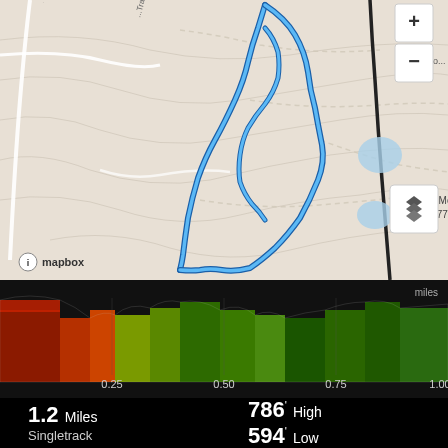[Figure (map): Topographic map showing a hiking/running trail route traced in blue. The route forms a loop around Lookout Mountain (elevation 778). Map labels include 'Case Mo... 705', 'Lookout Mountain 778'. Map credit to Mapbox. Scale bar shows 500 ft. Zoom controls (+/-) visible in top right. Layer toggle button visible lower right.]
[Figure (area-chart): Elevation profile chart with colored bands (red, orange, yellow, green, dark green) showing terrain difficulty/gradient over distance. X-axis labels: 0.25, 0.50, 0.75, 1.00. Y-axis label: miles (top right). Dark background.]
1.2 Miles
Singletrack
786' High
594' Low